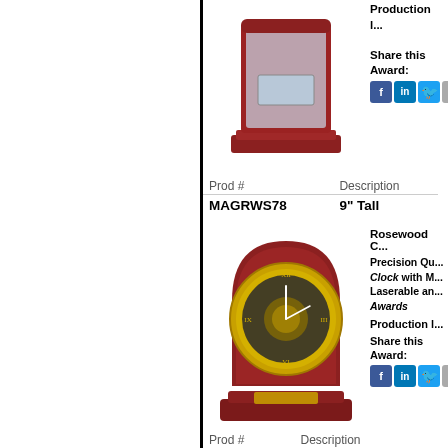[Figure (photo): Rosewood glass clock award, 9 inches tall, shown from front]
Production lead time...
Share this Award:
| Prod # | Description |
| --- | --- |
| MAGRWS78 | 9" Tall |
[Figure (photo): Rosewood clock with round gold face and visible gear mechanism, 8 inches wide x 8.5 inches tall]
Rosewood C...
Precision Qu... Clock with M... Laserable an... Awards
Production l...
Share this Award:
| Prod # | Description |
| --- | --- |
| MAGRWS83 | 8" Wide X 8 1/2" Tall |